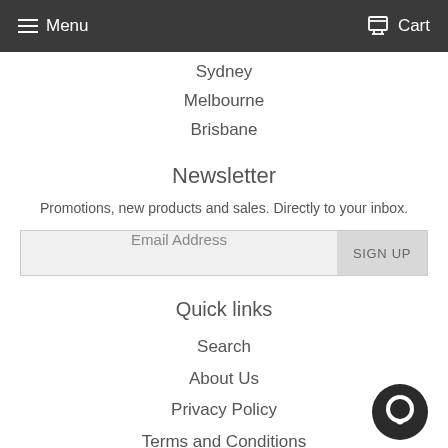Menu  Cart
Sydney
Melbourne
Brisbane
Newsletter
Promotions, new products and sales. Directly to your inbox.
Email Address  SIGN UP
Quick links
Search
About Us
Privacy Policy
Terms and Conditions
Shipping and delivery
Zip - Own it now, pay later